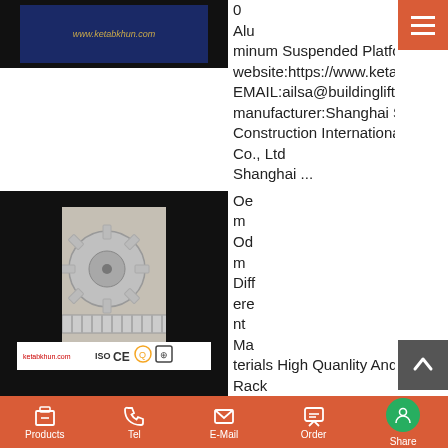[Figure (photo): Product image showing website watermark 'www.ketabkhun.com' on dark background — aluminum suspended platform thumbnail]
0 Aluminum Suspended Platform website:https://www.ketabkhun.com/ EMAIL:ailsa@buildinglift.com manufacturer:Shanghai Success Construction International Trade Co., Ltd Shanghai ...
[Figure (photo): Product image showing precision rack gears and spur gears — metallic silver gears with ISO CE Q certification logos at bottom. Website watermark 'ketabkhun.com' visible.]
Oem Odm Different Materials High Quanlity And Precision Rack Gears website:https://www.ketabkhun.com/
Products  Tel  E-Mail  Order  Share